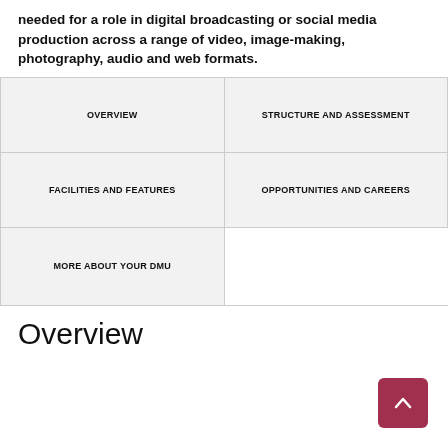needed for a role in digital broadcasting or social media production across a range of video, image-making, photography, audio and web formats.
| OVERVIEW | STRUCTURE AND ASSESSMENT |
| FACILITIES AND FEATURES | OPPORTUNITIES AND CAREERS |
| MORE ABOUT YOUR DMU |  |
Overview
[Figure (other): Back to top button, dark pink/red square with upward chevron arrow]